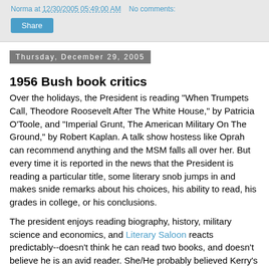Norma at 12/30/2005 05:49:00 AM  No comments:
Share
Thursday, December 29, 2005
1956 Bush book critics
Over the holidays, the President is reading "When Trumpets Call, Theodore Roosevelt After The White House," by Patricia O'Toole, and "Imperial Grunt, The American Military On The Ground," by Robert Kaplan. A talk show hostess like Oprah can recommend anything and the MSM falls all over her. But every time it is reported in the news that the President is reading a particular title, some literary snob jumps in and makes snide remarks about his choices, his ability to read, his grades in college, or his conclusions.
The president enjoys reading biography, history, military science and economics, and Literary Saloon reacts predictably--doesn't think he can read two books, and doesn't believe he is an avid reader. She/He probably believed Kerry's opinion about the worst economy since the